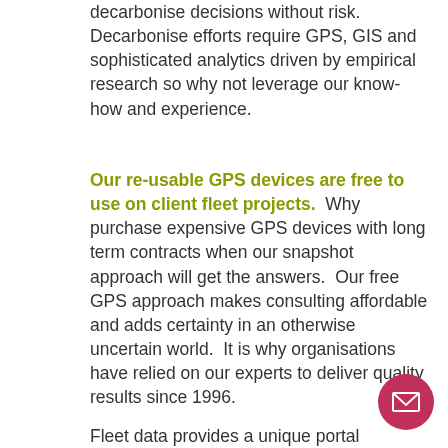decarbonise decisions without risk. Decarbonise efforts require GPS, GIS and sophisticated analytics driven by empirical research so why not leverage our know-how and experience.
Our re-usable GPS devices are free to use on client fleet projects.  Why purchase expensive GPS devices with long term contracts when our snapshot approach will get the answers.  Our free GPS approach makes consulting affordable and adds certainty in an otherwise uncertain world.  It is why organisations have relied on our experts to deliver quality results since 1996.
Fleet data provides a unique portal